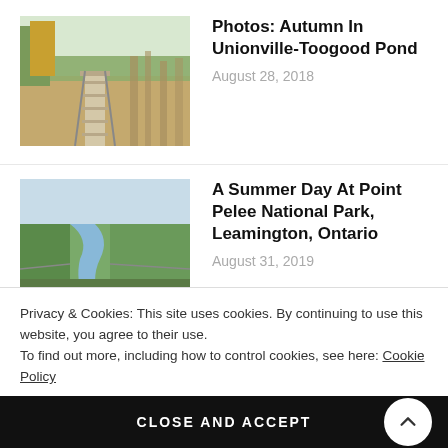[Figure (photo): Wooden boardwalk path through autumn reeds and trees]
Photos: Autumn In Unionville-Toogood Pond
August 28, 2018
[Figure (photo): River winding through green marsh at Point Pelee National Park]
A Summer Day At Point Pelee National Park, Leamington, Ontario
August 31, 2019
[Figure (photo): Trees with yellow-green foliage at O'Neill Nature Preserve]
Photos: Discover O'Neill Nature Preserve, Chatham
September 17, 2019
Privacy & Cookies: This site uses cookies. By continuing to use this website, you agree to their use.
To find out more, including how to control cookies, see here: Cookie Policy
CLOSE AND ACCEPT